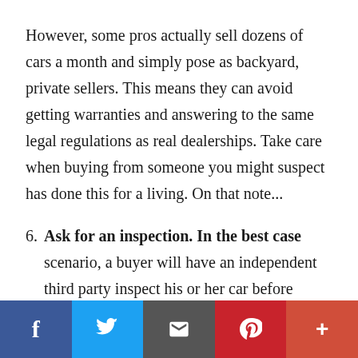However, some pros actually sell dozens of cars a month and simply pose as backyard, private sellers. This means they can avoid getting warranties and answering to the same legal regulations as real dealerships. Take care when buying from someone you might suspect has done this for a living. On that note...
6. **Ask for an inspection. **In the best case scenario, a buyer will have an independent third party inspect his or her car before selling it. If you are interested in a car that hasn't been inspected by the seller, it might be worth your...
Social share bar: Facebook, Twitter, Email, Pinterest, More